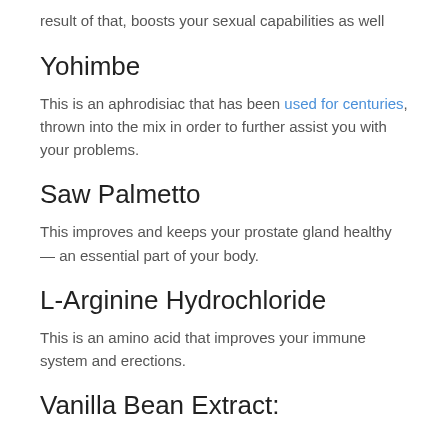result of that, boosts your sexual capabilities as well
Yohimbe
This is an aphrodisiac that has been used for centuries, thrown into the mix in order to further assist you with your problems.
Saw Palmetto
This improves and keeps your prostate gland healthy — an essential part of your body.
L-Arginine Hydrochloride
This is an amino acid that improves your immune system and erections.
Vanilla Bean Extract: